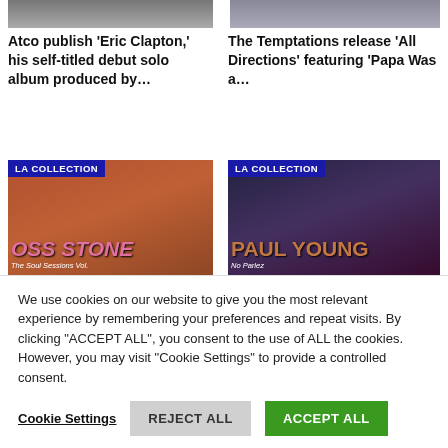[Figure (photo): Partial album/artist photo top left (cropped)]
[Figure (photo): Partial album/artist photo top right (cropped)]
Atco publish ‘Eric Clapton,’ his self-titled debut solo album produced by…
The Temptations release ‘All Directions’ featuring ‘Papa Was a…
[Figure (photo): LA COLLECTION - Joss Stone The Soul Sessions Vol. audio + video album cover]
[Figure (photo): LA COLLECTION - Paul Young No Parlez audio + video album cover]
Joss Stone releases her
CBS release Paul Young’s
We use cookies on our website to give you the most relevant experience by remembering your preferences and repeat visits. By clicking “ACCEPT ALL”, you consent to the use of ALL the cookies. However, you may visit “Cookie Settings” to provide a controlled consent.
Cookie Settings
REJECT ALL
ACCEPT ALL